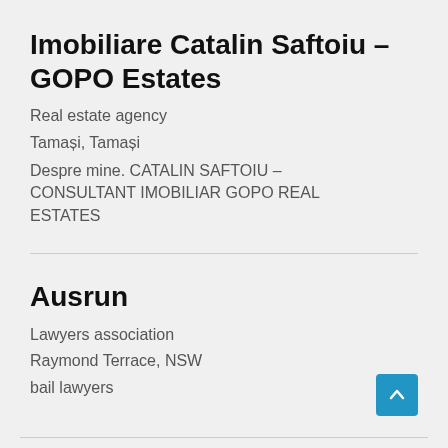Imobiliare Catalin Saftoiu – GOPO Estates
Real estate agency
Tamași, Tamași
Despre mine. CATALIN SAFTOIU – CONSULTANT IMOBILIAR GOPO REAL ESTATES
Ausrun
Lawyers association
Raymond Terrace, NSW
bail lawyers